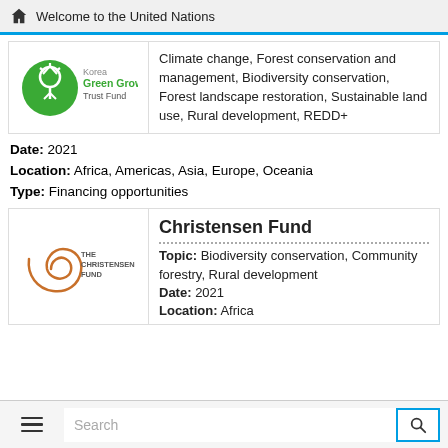Welcome to the United Nations
[Figure (logo): Korea Green Growth Trust Fund logo with a green circular emblem and a tree/arrow symbol]
Climate change, Forest conservation and management, Biodiversity conservation, Forest landscape restoration, Sustainable land use, Rural development, REDD+
Date: 2021
Location: Africa, Americas, Asia, Europe, Oceania
Type: Financing opportunities
Christensen Fund
Topic: Biodiversity conservation, Community forestry, Rural development
Date: 2021
Location: Africa
[Figure (logo): The Christensen Fund logo with an orange spiral shell emblem]
Search